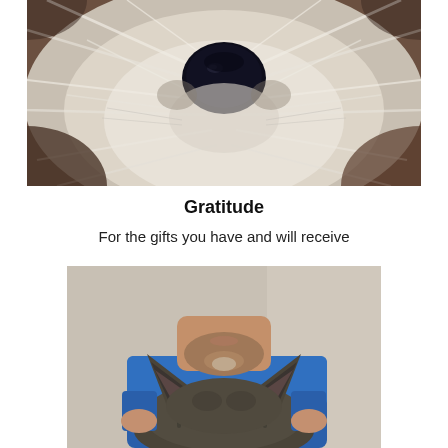[Figure (photo): Close-up extreme macro photograph of a fluffy white dog's nose and snout, showing fur radiating outward from the large dark nose, with brown/red tones at the edges]
Gratitude
For the gifts you have and will receive
[Figure (photo): A man wearing blue scrubs holding a tabby cat, visible from chin down, the cat shown from behind with prominent pointed ears, indoor setting with neutral background]